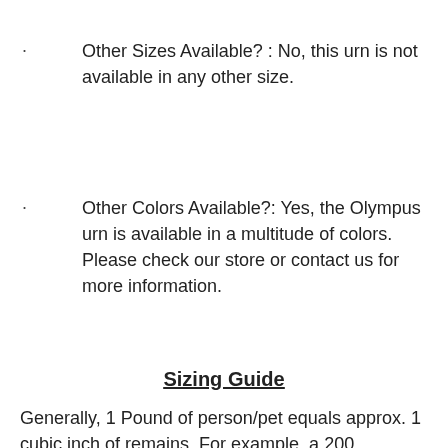Other Sizes Available? : No, this urn is not available in any other size.
Other Colors Available?: Yes, the Olympus urn is available in a multitude of colors. Please check our store or contact us for more information.
Sizing Guide
Generally, 1 Pound of person/pet equals approx. 1 cubic inch of remains. For example, a 200